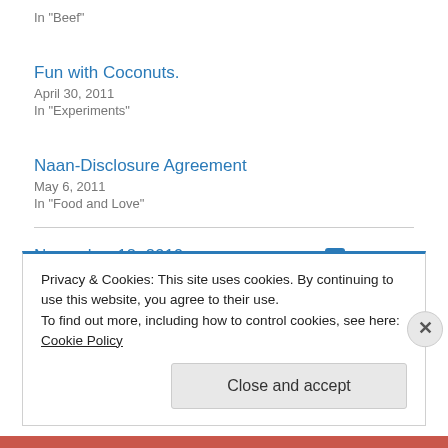In "Beef"
Fun with Coconuts.
April 30, 2011
In "Experiments"
Naan-Disclosure Agreement
May 6, 2011
In "Food and Love"
November 12, 2010
5 Replies
Privacy & Cookies: This site uses cookies. By continuing to use this website, you agree to their use.
To find out more, including how to control cookies, see here: Cookie Policy
Close and accept